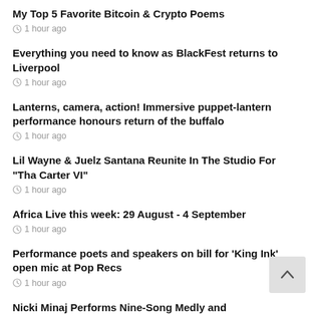My Top 5 Favorite Bitcoin & Crypto Poems
1 hour ago
Everything you need to know as BlackFest returns to Liverpool
1 hour ago
Lanterns, camera, action! Immersive puppet-lantern performance honours return of the buffalo
1 hour ago
Lil Wayne & Juelz Santana Reunite In The Studio For "Tha Carter VI"
1 hour ago
Africa Live this week: 29 August - 4 September
1 hour ago
Performance poets and speakers on bill for 'King Ink' open mic at Pop Recs
1 hour ago
Nicki Minaj Performs Nine-Song Medly and Accepts Video Vanguard Award at MTV VMAs
1 hour ago